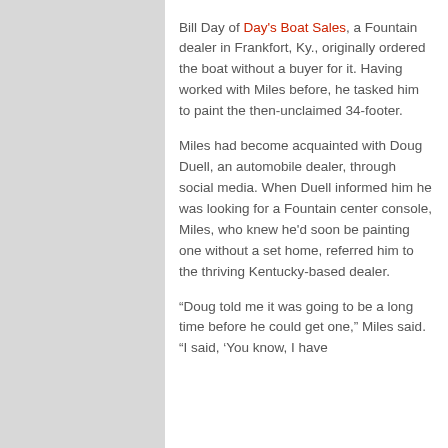Bill Day of Day's Boat Sales, a Fountain dealer in Frankfort, Ky., originally ordered the boat without a buyer for it. Having worked with Miles before, he tasked him to paint the then-unclaimed 34-footer.

Miles had become acquainted with Doug Duell, an automobile dealer, through social media. When Duell informed him he was looking for a Fountain center console, Miles, who knew he'd soon be painting one without a set home, referred him to the thriving Kentucky-based dealer.

“Doug told me it was going to be a long time before he could get one,” Miles said. “I said, ‘You know, I have